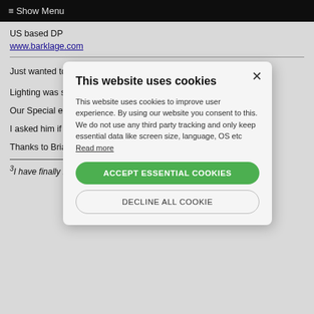≡ Show Menu
US based DP
www.barklage.com
Just wanted to report back. In the end I did not need to use Kino¹s.
Lighting was si... K-5¹s and inkies...
Our Special effe... 8 foot overhead... for lighting, so i...
I asked him if h... said he had, se...
Thanks to Brian... email
[Figure (screenshot): Cookie consent modal dialog with title 'This website uses cookies', body text about cookie policy, 'ACCEPT ESSENTIAL COOKIES' green button, and 'DECLINE ALL COOKIE' outline button, with X close button.]
³I have finally heard back from one of the scientists I...